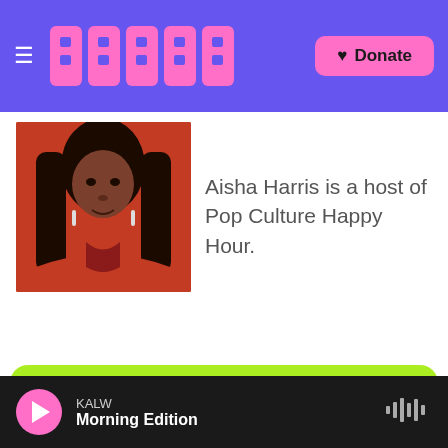KALW — Donate
[Figure (photo): Photo of Aisha Harris, a woman with long braids wearing a red outfit, against a red background]
Aisha Harris is a host of Pop Culture Happy Hour.
SIGNUP FOR KALW NEWSLETTERS
default@example.com
KALW — Morning Edition